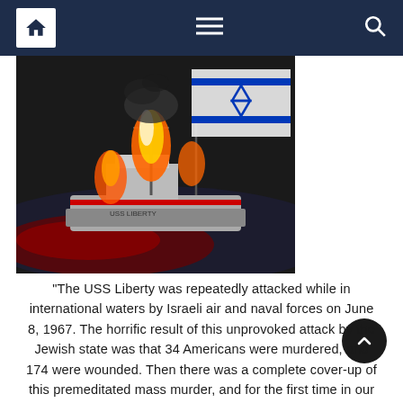Navigation bar with home, menu, and search icons
[Figure (photo): Composite image of USS Liberty ship on fire with blood-red water and an Israeli flag in the background]
"The USS Liberty was repeatedly attacked while in international waters by Israeli air and naval forces on June 8, 1967. The horrific result of this unprovoked attack by the Jewish state was that 34 Americans were murdered, and 174 were wounded. Then there was a complete cover-up of this premeditated mass murder, and for the first time in our history, there wasn't any retaliation against Israel for committing this